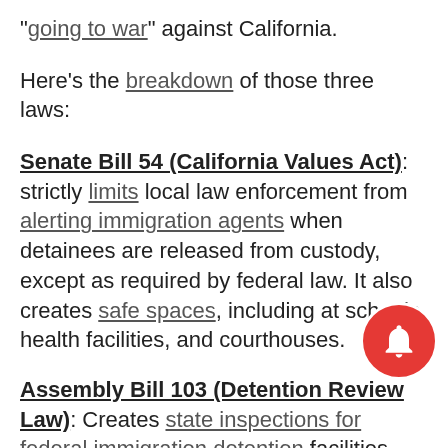“going to war” against California.
Here’s the breakdown of those three laws:
Senate Bill 54 (California Values Act): strictly limits local law enforcement from alerting immigration agents when detainees are released from custody, except as required by federal law. It also creates safe spaces, including at schools, health facilities, and courthouses.
Assembly Bill 103 (Detention Review Law): Creates state inspections for federal immigration detention facilities, passed in response to rampant mistreatment and abuse of immigrants. More than 33,000 complaints of sexual or physical assault immigration detention centers have been reported